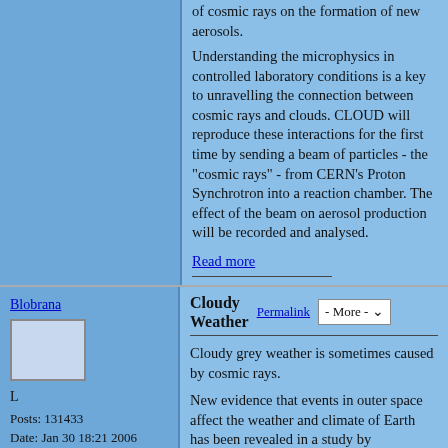experiment aims to investigate the effect of cosmic rays on the formation of new aerosols. Understanding the microphysics in controlled laboratory conditions is a key to unravelling the connection between cosmic rays and clouds. CLOUD will reproduce these interactions for the first time by sending a beam of particles - the "cosmic rays" - from CERN's Proton Synchrotron into a reaction chamber. The effect of the beam on aerosol production will be recorded and analysed.
Read more
Blobrana
[Figure (other): User avatar placeholder box]
L
Posts: 131433
Date: Jan 30 18:21 2006
Cloudy Weather
Permalink
Cloudy grey weather is sometimes caused by cosmic rays.
New evidence that events in outer space affect the weather and climate of Earth has been revealed in a study by meteorologists at the University of Reading published in the Proceedings of